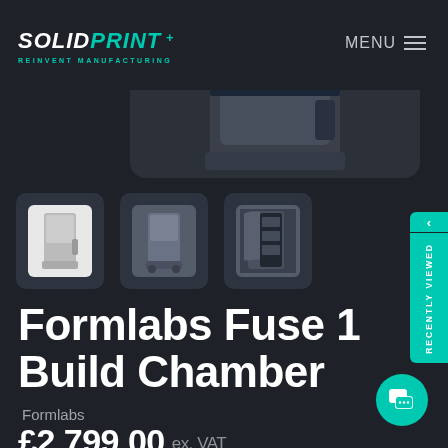SOLIDPRINT — REINVENT MANUFACTURING | MENU
[Figure (photo): 3D printer (Formlabs Fuse 1 Build Chamber) product photo — top portion visible against dark background]
[Figure (photo): Three product thumbnail images of the Formlabs Fuse 1 Build Chamber: front view (selected/white background), side view with wheels, door-open view]
Formlabs Fuse 1 Build Chamber
Formlabs
£2,799.00 ex. VAT